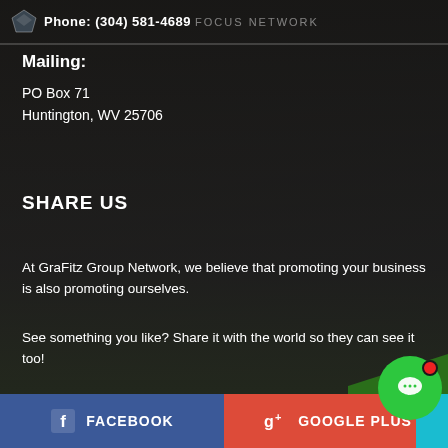Phone: (304) 581-4689 FOCUS NETWORK
Mailing:
PO Box 71
Huntington, WV 25706
SHARE US
At GraFitz Group Network, we believe that promoting your business is also promoting ourselves.
See something you like? Share it with the world so they can see it too!
FACEBOOK
GOOGLE PLUS